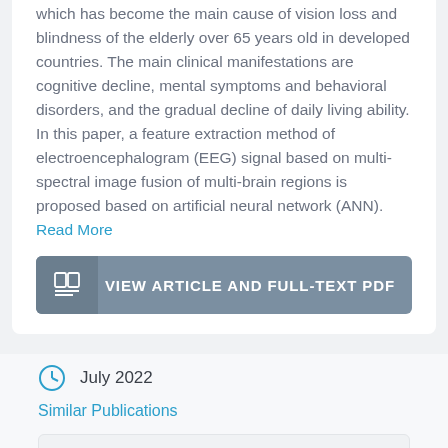which has become the main cause of vision loss and blindness of the elderly over 65 years old in developed countries. The main clinical manifestations are cognitive decline, mental symptoms and behavioral disorders, and the gradual decline of daily living ability. In this paper, a feature extraction method of electroencephalogram (EEG) signal based on multi-spectral image fusion of multi-brain regions is proposed based on artificial neural network (ANN). Read More
VIEW ARTICLE AND FULL-TEXT PDF
July 2022
Similar Publications
Social share icons: f (Facebook), Twitter bird, in (LinkedIn)
SORL1 gene mutation and octapeptide repeat insertion in PRNP gene in a case presenting with